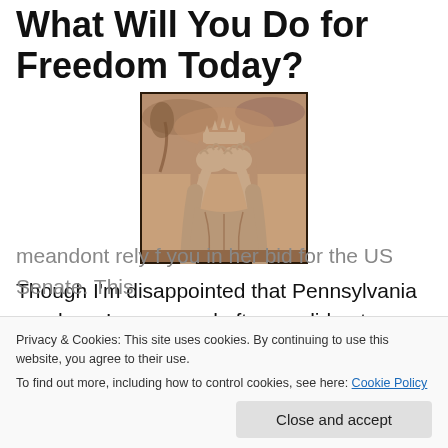What Will You Do for Freedom Today?
[Figure (illustration): Sepia-toned image of the Statue of Liberty with her face buried in her hands in a facepalm pose, with a dramatic cloudy sky background.]
Though I'm disappointed that Pennsylvania — where I canvassed often — did not go blue, New Hampshire —
meandont rely f you in her bid for the US Senate. This
Privacy & Cookies: This site uses cookies. By continuing to use this website, you agree to their use.
To find out more, including how to control cookies, see here: Cookie Policy
Close and accept